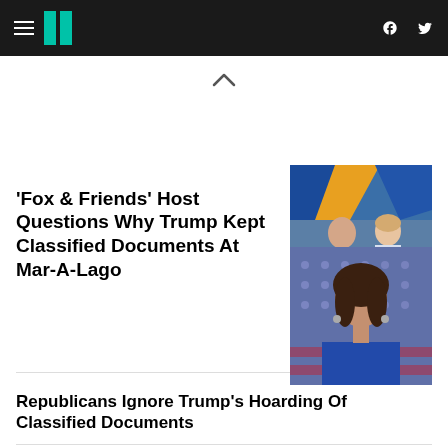HuffPost navigation bar with logo, hamburger menu, Facebook and Twitter icons
‘Fox & Friends’ Host Questions Why Trump Kept Classified Documents At Mar-A-Lago
[Figure (photo): Two TV hosts seated on a Fox & Friends set with colorful background graphics]
Republicans Ignore Trump's Hoarding Of Classified Documents
[Figure (photo): Woman with dark hair in front of American flag background, wearing blue sleeveless top]